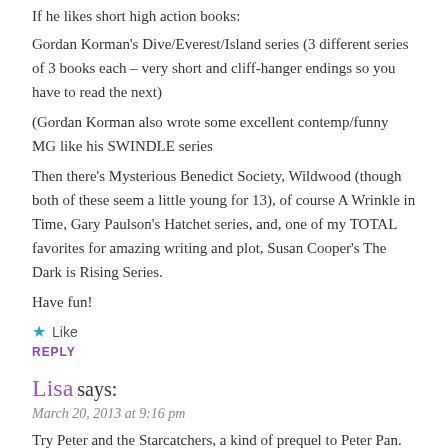If he likes short high action books:
Gordan Korman's Dive/Everest/Island series (3 different series of 3 books each – very short and cliff-hanger endings so you have to read the next)
(Gordan Korman also wrote some excellent contemp/funny MG like his SWINDLE series
Then there's Mysterious Benedict Society, Wildwood (though both of these seem a little young for 13), of course A Wrinkle in Time, Gary Paulson's Hatchet series, and, one of my TOTAL favorites for amazing writing and plot, Susan Cooper's The Dark is Rising Series.
Have fun!
★ Like
REPLY
Lisa says:
March 20, 2013 at 9:16 pm
Try Peter and the Starcatchers, a kind of prequel to Peter Pan.